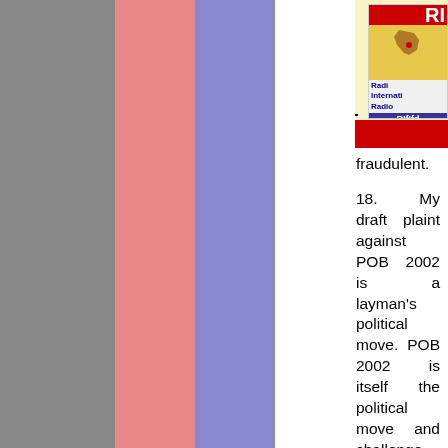Uganda Peoples Congress
fraudulent.
18. My draft plaint against POB 2002 is a layman's political move. POB 2002 is itself the political move and challenge by the dictatorship. It is for the PPC to polish my draft, expand it and file in Court.
19. When trial begins, the citizen shall stand erect in his/her Court with much dignity in the trial of the dictatorship and the Judges.
20. Our case is that the human rights and freedoms of the citizen are God given and are not granted by the State through a POB which also restricts them to